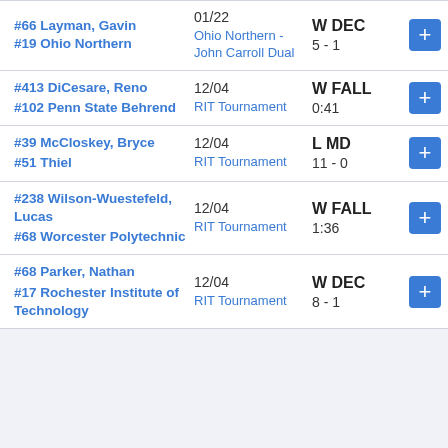| Opponent | Date / Event | Result |  |
| --- | --- | --- | --- |
| #66 Layman, Gavin
#19 Ohio Northern | 01/22
Ohio Northern - John Carroll Dual | W DEC
5 - 1 | + |
| #413 DiCesare, Reno
#102 Penn State Behrend | 12/04
RIT Tournament | W FALL
0:41 | + |
| #39 McCloskey, Bryce
#51 Thiel | 12/04
RIT Tournament | L MD
11 - 0 | + |
| #238 Wilson-Wuestefeld, Lucas
#68 Worcester Polytechnic | 12/04
RIT Tournament | W FALL
1:36 | + |
| #68 Parker, Nathan
#17 Rochester Institute of Technology | 12/04
RIT Tournament | W DEC
8 - 1 | + |